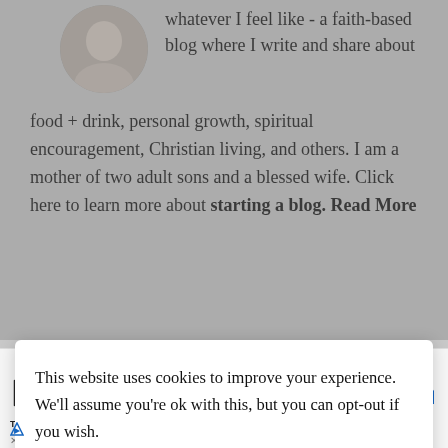whatever I feel like - a faith-based blog where I write and share about food + drink, personal growth, spiritual encouragement, Christian living, and others. I am a mother of two adult sons and a blessed wife. Click here to learn more about starting a blog. Read More
This website uses cookies to improve your experience. We'll assume you're ok with this, but you can opt-out if you wish.  Ok, no problem!  Read More
[Figure (screenshot): Bottom advertisement bar showing Topgolf logo, green checkmark with 'Dine-in', red X with 'Delivery', and a blue navigation arrow icon]
[Figure (photo): Circular avatar photo of a woman, partially visible at top of page]